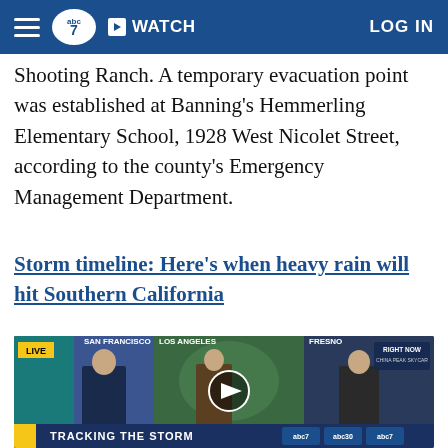abc7 | WATCH | LOG IN
Shooting Ranch. A temporary evacuation point was established at Banning's Hemmerling Elementary School, 1928 West Nicolet Street, according to the county's Emergency Management Department.
Storm timeline: Here's when heavy rain will hit Southern California
[Figure (screenshot): Video thumbnail showing three news segments: San Francisco anchor (LIVE), Los Angeles weather presenter standing in front of a weather map with a play button overlay, and Fresno anchor with RIGHT NOW chyron. Bottom banner reads TRACKING THE STORM with ABC7 logos.]